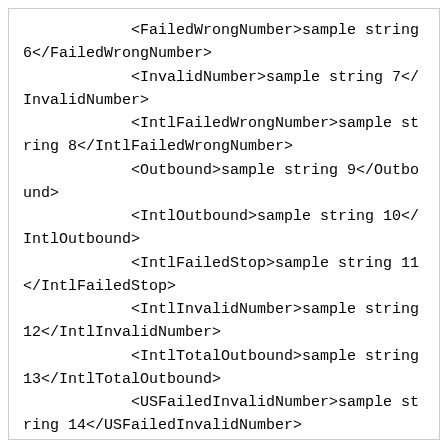<FailedWrongNumber>sample string 6</FailedWrongNumber>
            <InvalidNumber>sample string 7</InvalidNumber>
            <IntlFailedWrongNumber>sample string 8</IntlFailedWrongNumber>
            <Outbound>sample string 9</Outbound>
            <IntlOutbound>sample string 10</IntlOutbound>
            <IntlFailedStop>sample string 11</IntlFailedStop>
            <IntlInvalidNumber>sample string 12</IntlInvalidNumber>
            <IntlTotalOutbound>sample string 13</IntlTotalOutbound>
            <USFailedInvalidNumber>sample string 14</USFailedInvalidNumber>
            <FailedStop>sample string 15</FailedStop>
            <TotalOutbound>sample string 16</TotalOutbound>
            <Inbound>sample string 17</Inbound>
            <Rowstate>sample string 18</Rowstate>